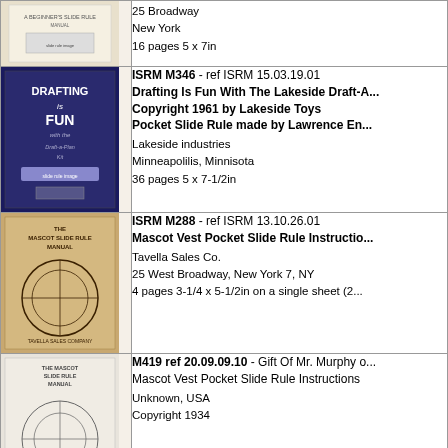| Image | Description |
| --- | --- |
| [book cover] | 25 Broadway
New York
16 pages 5 x 7in |
| [DRAFTING is FUN cover] | ISRM M346 - ref ISRM 15.03.19.01
Drafting Is Fun With The Lakeside Draft-A...
Copyright 1961 by Lakeside Toys
Pocket Slide Rule made by Lawrence En...
Lakeside industries
Minneapolilis, Minnisota
36 pages 5 x 7-1/2in |
| [Mascot Slide Rule Manual cover] | ISRM M288 - ref ISRM 13.10.26.01
Mascot Vest Pocket Slide Rule Instructio...
Tavella Sales Co.
25 West Broadway, New York 7, NY
4 pages 3-1/4 x 5-1/2in on a single sheet (2... |
| [Mascot Slide Rule Manual cover 2] | M419 ref 20.09.09.10 - Gift Of Mr. Murphy o...
Mascot Vest Pocket Slide Rule Instructions
Unknown, USA
Copyright 1934 |
| [Globemaster cover] | M416 - Ref 20.04.01.320 - Donated by Phili...
Globemaster Slide Rule Instructions
Printed in Japan... |